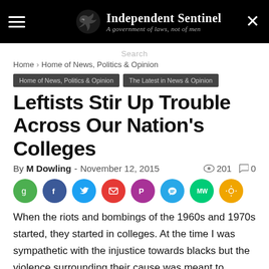Independent Sentinel — A government of laws, not of men
Home › Home of News, Politics & Opinion
Home of News, Politics & Opinion | The Latest in News & Opinion
Leftists Stir Up Trouble Across Our Nation's Colleges
By M Dowling - November 12, 2015  201  0
[Figure (infographic): Social sharing icons: Google, Facebook, Twitter, Email, Parler, Telegram, MeWe, Share]
When the riots and bombings of the 1960s and 1970s started, they started in colleges. At the time I was sympathetic with the injustice towards blacks but the violence surrounding their cause was meant to fundamentally transform America into a leftist hellhole.